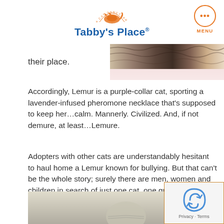[Figure (logo): Tabby's Place cat sanctuary logo with orange cat icon and blue text]
their place.
[Figure (photo): Close-up photo of a cat lying down, cropped]
Accordingly, Lemur is a purple-collar cat, sporting a lavender-infused pheromone necklace that's supposed to keep her…calm. Mannerly. Civilized. And, if not demure, at least…Lemure.
Adopters with other cats are understandably hesitant to haul home a Lemur known for bullying. But that can't be the whole story; surely there are men, women and children in search of just one cat, one great and glorious cat, to love with an exclusive, undying, serflike admiration?
[Figure (photo): Partial photo of a cat at the bottom of the page]
[Figure (other): reCAPTCHA Privacy Terms overlay box]